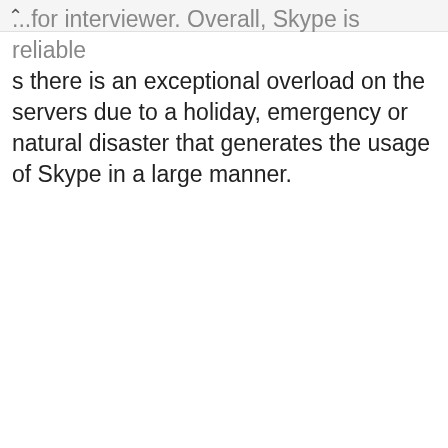...for interviewer. Overall, Skype is reliable s there is an exceptional overload on the servers due to a holiday, emergency or natural disaster that generates the usage of Skype in a large manner.